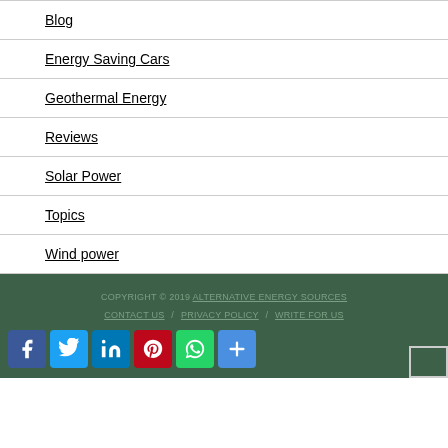Blog
Energy Saving Cars
Geothermal Energy
Reviews
Solar Power
Topics
Wind power
COPYRIGHT © 2019 ALTERNATIVE ENERGY SOURCES CONTACT US / PRIVACY POLICY / WRITE FOR US